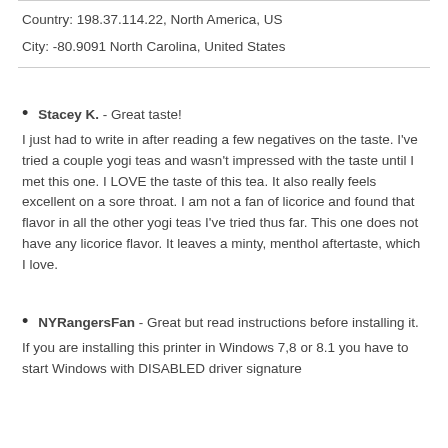Country: 198.37.114.22, North America, US
City: -80.9091 North Carolina, United States
Stacey K. - Great taste!
I just had to write in after reading a few negatives on the taste. I've tried a couple yogi teas and wasn't impressed with the taste until I met this one. I LOVE the taste of this tea. It also really feels excellent on a sore throat. I am not a fan of licorice and found that flavor in all the other yogi teas I've tried thus far. This one does not have any licorice flavor. It leaves a minty, menthol aftertaste, which I love.
NYRangersFan - Great but read instructions before installing it.
If you are installing this printer in Windows 7,8 or 8.1 you have to start Windows with DISABLED driver signature...